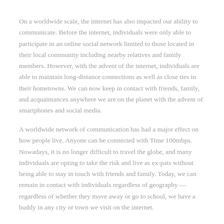On a worldwide scale, the internet has also impacted our ability to communicate. Before the internet, individuals were only able to participate in an online social network limited to those located in their local community including nearby relatives and family members. However, with the advent of the internet, individuals are able to maintain long-distance connections as well as close ties in their hometowns. We can now keep in contact with friends, family, and acquaintances anywhere we are on the planet with the advent of smartphones and social media.
A worldwide network of communication has had a major effect on how people live. Anyone can be connected with Time 100mbps. Nowadays, it is no longer difficult to travel the globe, and many individuals are opting to take the risk and live as ex-pats without being able to stay in touch with friends and family. Today, we can remain in contact with individuals regardless of geography — regardless of whether they move away or go to school, we have a buddy in any city or town we visit on the internet.